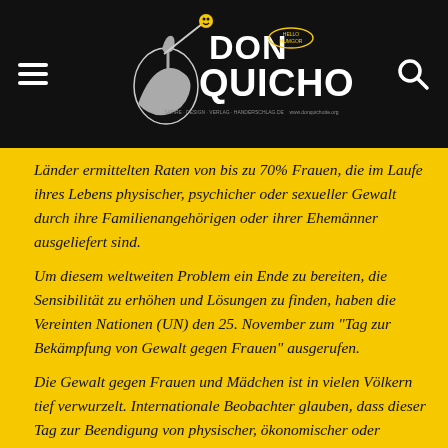Don Quichotte
Länder ermittelten Raten von bis zu 70% Frauen, die im Laufe ihres Lebens physischer, psychicher oder sexueller Gewalt durch ihre Familienangehörigen oder ihrer Ehemänner ausgeliefert sind.
Um diesem weltweiten Problem ein Ende zu bereiten, die Sensibilität zu erhöhen und Lösungen zu finden, haben die Vereinten Nationen (UN) den 25. November zum "Tag zur Bekämpfung von Gewalt gegen Frauen" ausgerufen.
Die Gewalt gegen Frauen und Mädchen ist in vielen Völkern tief verwurzelt. Internationale Beobachter glauben, dass dieser Tag zur Beendigung von physischer, ökonomischer oder psychischer Gewaltherrschaft über den weiblichen Teil der Gesellschaft dienen, zumindest ein Symbol des